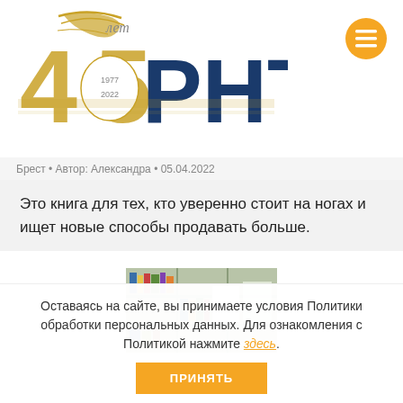[Figure (logo): РНТБ 45 лет (1977-2022) logo with golden '45' and blue Cyrillic letters]
Брест • Автор: Александра • 05.04.2022
Это книга для тех, кто уверенно стоит на ногах и ищет новые способы продавать больше.
[Figure (photo): Photo of a bookshelf with books and display materials]
Оставаясь на сайте, вы принимаете условия Политики обработки персональных данных. Для ознакомления с Политикой нажмите здесь.